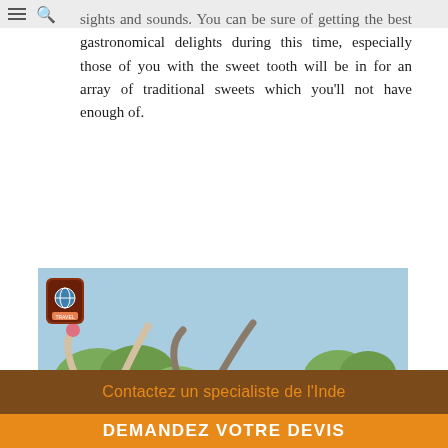sights and sounds. You can be sure of getting the best gastronomical delights during this time, especially those of you with the sweet tooth will be in for an array of traditional sweets which you'll not have enough of.
[Figure (photo): A woman in a red/orange sari stands beside two large horned bulls (oxen) in a rural Indian outdoor setting. A shield-shaped logo appears in the upper-left of the image.]
Contactez un specialiste de l'Inde
DEMANDEZ VOTRE DEVIS